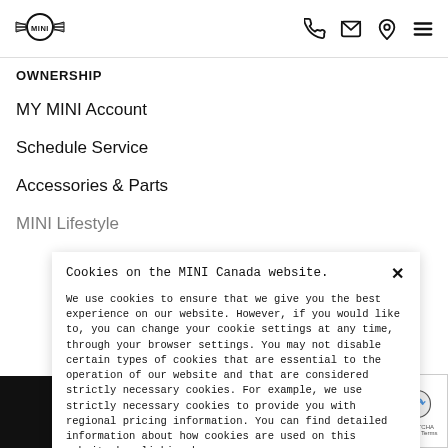[Figure (logo): MINI brand logo with wings in a circular badge]
[Figure (infographic): Header icons: phone, email/envelope, location pin, hamburger menu]
OWNERSHIP
MY MINI Account
Schedule Service
Accessories & Parts
MINI Lifestyle
Cookies on the MINI Canada website.
We use cookies to ensure that we give you the best experience on our website. However, if you would like to, you can change your cookie settings at any time, through your browser settings. You may not disable certain types of cookies that are essential to the operation of our website and that are considered strictly necessary cookies. For example, we use strictly necessary cookies to provide you with regional pricing information. You can find detailed information about how cookies are used on this website by clicking here.